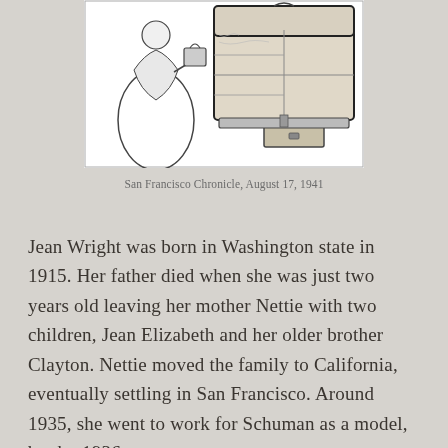[Figure (illustration): Black and white illustration of a woman in a skirt standing next to an open suitcase/trunk, appearing to pack or unpack it. From San Francisco Chronicle, August 17, 1941.]
San Francisco Chronicle, August 17, 1941
Jean Wright was born in Washington state in 1915. Her father died when she was just two years old leaving her mother Nettie with two children, Jean Elizabeth and her older brother Clayton. Nettie moved the family to California, eventually settling in San Francisco. Around 1935, she went to work for Schuman as a model, but by 1936